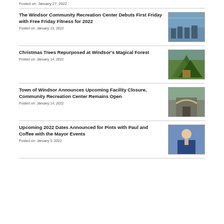Posted on: January 27, 2022
The Windsor Community Recreation Center Debuts First Friday with Free Friday Fitness for 2022
Posted on: January 19, 2022
[Figure (photo): Interior photo of a gym with exercise equipment and large windows]
Christmas Trees Repurposed at Windsor's Magical Forest
Posted on: January 14, 2022
[Figure (photo): Photo of a forest structure made from Christmas trees with children inside]
Town of Windsor Announces Upcoming Facility Closure, Community Recreation Center Remains Open
Posted on: January 14, 2022
[Figure (photo): Photo of a building entrance with an arched gateway]
Upcoming 2022 Dates Announced for Pints with Paul and Coffee with the Mayor Events
Posted on: January 5, 2022
[Figure (photo): Portrait photo of a man in a suit, presumably the Mayor]